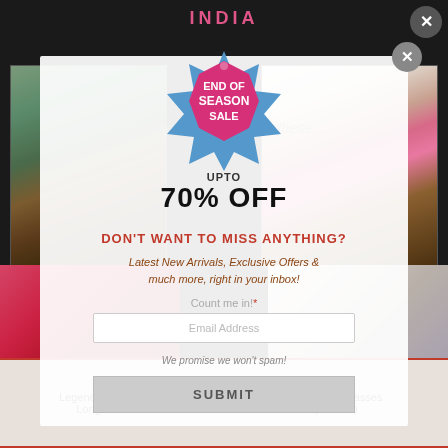INDIA
[Figure (screenshot): Website popup modal showing End of Season Sale badge (UPTO 70% OFF), newsletter signup with 'DON'T WANT TO MISS ANYTHING?' heading, email input field, and SUBMIT button, overlaid on a home decor website with lamp and nesting tables product images]
Hey! We think you'd love these....
END OF SEASON SALE
UPTO 70% OFF
DON'T WANT TO MISS ANYTHING?
Latest New Arrivals, Exclusive Offers & much more, right in your inbox!
Count me in!*
Email Address
We promise we won't spam!
SUBMIT
Legend of the Cranes Long Umbrella
Blue Wine Glasses (set of 2)